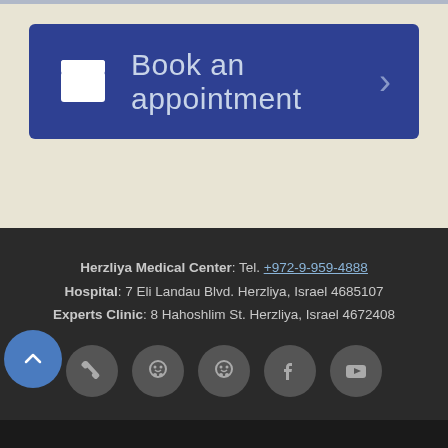[Figure (screenshot): Blue 'Book an appointment' button with calendar icon on the left and chevron arrow on the right]
Herzliya Medical Center: Tel. +972-9-959-4888
Hospital: 7 Eli Landau Blvd. Herzliya, Israel 4685107
Experts Clinic: 8 Hahoshlim St. Herzliya, Israel 4672408
[Figure (infographic): Row of 5 social media / contact circular icons: phone, Waze, Waze, Facebook, YouTube]